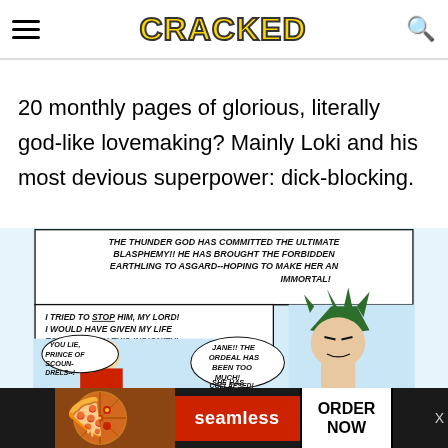CRACKED
20 monthly pages of glorious, literally god-like lovemaking? Mainly Loki and his most devious superpower: dick-blocking.
[Figure (illustration): Comic panel showing Thor and another figure with speech bubbles: 'THE THUNDER GOD HAS COMMITTED THE ULTIMATE BLASPHEMY!! HE HAS BROUGHT THE FORBIDDEN EARTHLING TO ASGARD--HOPING TO MAKE HER AN IMMORTAL!', 'I TRIED TO STOP HIM, MY LORD! I WOULD HAVE GIVEN MY LIFE TO SPARE YOU THIS INDIGNITY!', 'YOU LIE, PRINCE OF SCOUNDRELS--!', 'JANE!! THE ORDEAL HAS BEEN TOO MUCH! SHE HAS COLLAPSED!']
[Figure (infographic): Seamless food delivery advertisement banner with pizza image, seamless logo, and ORDER NOW button]